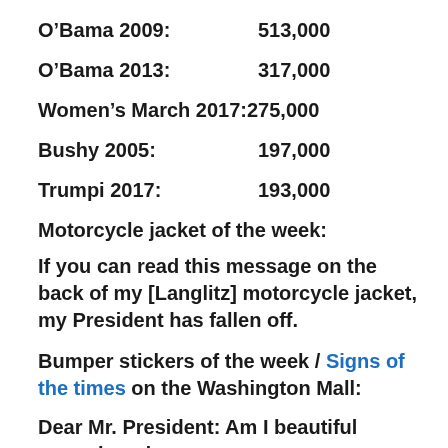O’Bama 2009:   513,000
O’Bama 2013:   317,000
Women’s March 2017:   275,000
Bushy 2005:   197,000
Trumpi 2017:   193,000
Motorcycle jacket of the week:
If you can read this message on the back of my [Langlitz] motorcycle jacket, my President has fallen off.
Bumper stickers of the week / Signs of the times on the Washington Mall:
Dear Mr. President: Am I beautiful enough and young